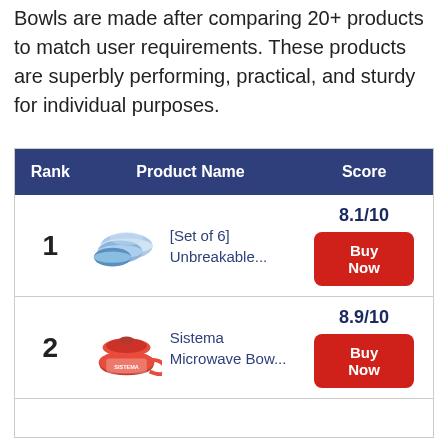Bowls are made after comparing 20+ products to match user requirements. These products are superbly performing, practical, and sturdy for individual purposes.
| Rank | Product Name | Score |
| --- | --- | --- |
| 1 | [Set of 6] Unbreakable... | 8.1/10 |
| 2 | Sistema Microwave Bow... | 8.9/10 |